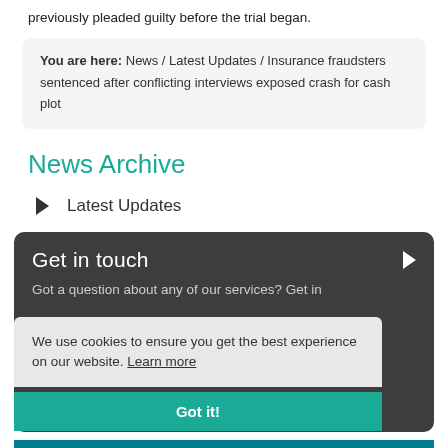previously pleaded guilty before the trial began.
You are here: News / Latest Updates / Insurance fraudsters sentenced after conflicting interviews exposed crash for cash plot
News Archive
Latest Updates
Get in touch
Got a question about any of our services? Get in
We use cookies to ensure you get the best experience on our website. Learn more
Got it!
View our brochure